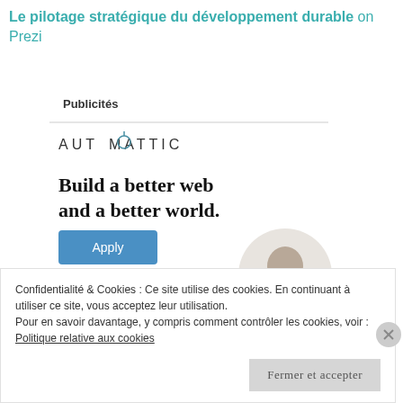Le pilotage stratégique du développement durable on Prezi
Publicités
[Figure (screenshot): Automattic advertisement banner with logo, text 'Build a better web and a better world.' and an Apply button, with a person's photo]
Confidentialité & Cookies : Ce site utilise des cookies. En continuant à utiliser ce site, vous acceptez leur utilisation.
Pour en savoir davantage, y compris comment contrôler les cookies, voir :
Politique relative aux cookies
Fermer et accepter